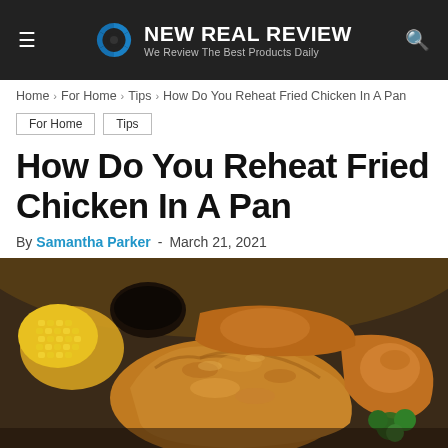NEW REAL REVIEW — We Review The Best Products Daily
Home › For Home › Tips › How Do You Reheat Fried Chicken In A Pan
For Home   Tips
How Do You Reheat Fried Chicken In A Pan
By Samantha Parker - March 21, 2021
[Figure (photo): Close-up photo of golden fried chicken pieces on a dark plate with corn and parsley garnish]